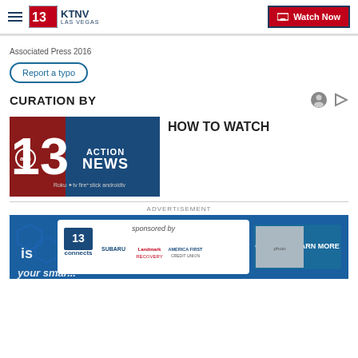KTNV LAS VEGAS — Watch Now
Associated Press 2016
Report a typo
CURATION BY
HOW TO WATCH
[Figure (logo): ABC 13 Action News logo with streaming platform icons: Roku, Apple TV, Firestick, Android TV]
ADVERTISEMENT
[Figure (screenshot): Advertisement banner: 13 Connects sponsored by Subaru, Landmark Recovery, America First Credit Union — Click to Learn More]